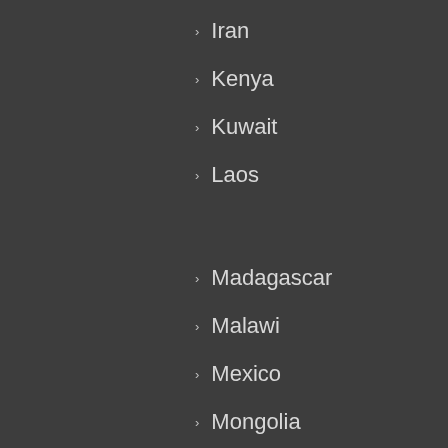Iran
Kenya
Kuwait
Laos
Madagascar
Malawi
Mexico
Mongolia
Mozambique
Myanmar (Burma)
Nepal